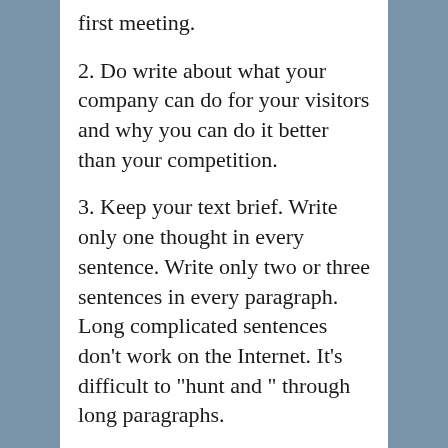first meeting.
2. Do write about what your company can do for your visitors and why you can do it better than your competition.
3. Keep your text brief. Write only one thought in every sentence. Write only two or three sentences in every paragraph. Long complicated sentences don’t work on the Internet. It’s difficult to “hunt and ” through long paragraphs.